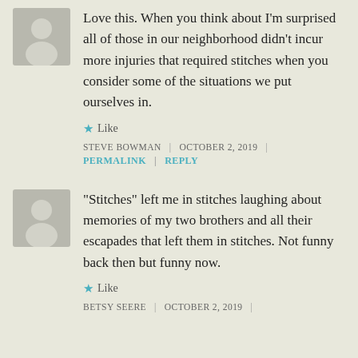Love this. When you think about I'm surprised all of those in our neighborhood didn't incur more injuries that required stitches when you consider some of the situations we put ourselves in.
Like
STEVE BOWMAN | OCTOBER 2, 2019 |
PERMALINK | REPLY
“Stitches” left me in stitches laughing about memories of my two brothers and all their escapades that left them in stitches. Not funny back then but funny now.
Like
BETSY SEERE | OCTOBER 2, 2019 |